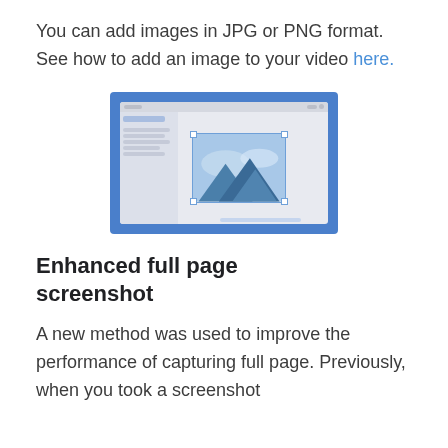You can add images in JPG or PNG format. See how to add an image to your video here.
[Figure (screenshot): Screenshot of a video editing interface with a blue background, showing an image with mountains being inserted into a video editor panel.]
Enhanced full page screenshot
A new method was used to improve the performance of capturing full page. Previously, when you took a screenshot